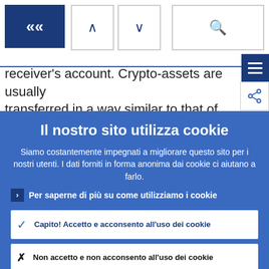« ∧ ∨ 🔍
receiver's account. Crypto-assets are usually transferred in a way similar to that of cash transactions: when a user receives a
Il nostro sito utilizza cookie
Siamo costantemente impegnati a migliorare questo sito per i nostri utenti. I dati forniti in forma anonima dai cookie ci aiutano a farlo.
› Per saperne di più su come utilizziamo i cookie
✓ Capito! Accetto e acconsento all'uso dei cookie
✗ Non accetto e non acconsento all'uso dei cookie